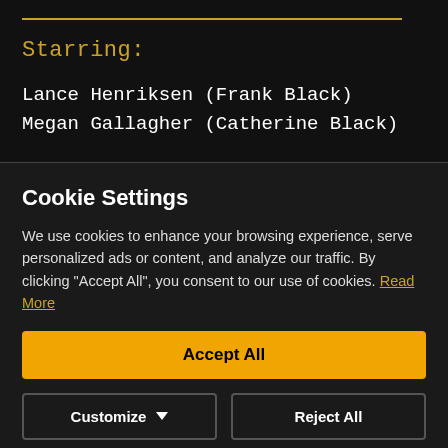Starring:
Lance Henriksen (Frank Black)
Megan Gallagher (Catherine Black)
Cookie Settings
We use cookies to enhance your browsing experience, serve personalized ads or content, and analyze our traffic. By clicking "Accept All", you consent to our use of cookies. Read More
Accept All
Customize
Reject All